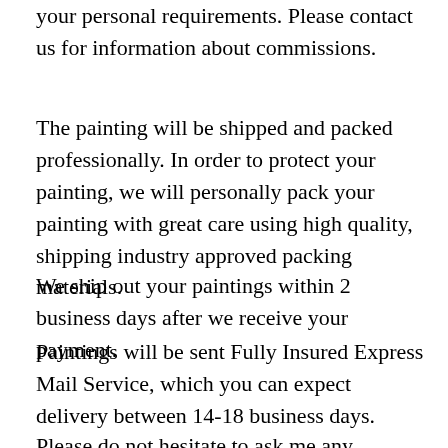your personal requirements. Please contact us for information about commissions.
The painting will be shipped and packed professionally. In order to protect your painting, we will personally pack your painting with great care using high quality, shipping industry approved packing materials.
We ship out your paintings within 2 business days after we receive your payment.
Paintings will be sent Fully Insured Express Mail Service, which you can expect delivery between 14-18 business days.
Please do not hesitate to ask me any question and We'll